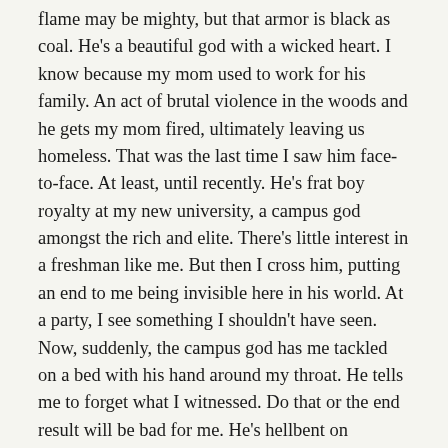flame may be mighty, but that armor is black as coal. He’s a beautiful god with a wicked heart. I know because my mom used to work for his family. An act of brutal violence in the woods and he gets my mom fired, ultimately leaving us homeless. That was the last time I saw him face-to-face. At least, until recently. He’s frat boy royalty at my new university, a campus god amongst the rich and elite. There’s little interest in a freshman like me. But then I cross him, putting an end to me being invisible here in his world. At a party, I see something I shouldn’t have seen. Now, suddenly, the campus god has me tackled on a bed with his hand around my throat. He tells me to forget what I witnessed. Do that or the end result will be bad for me. He’s hellbent on crushing my little dove wings and all I see is that cruel boy from the woods